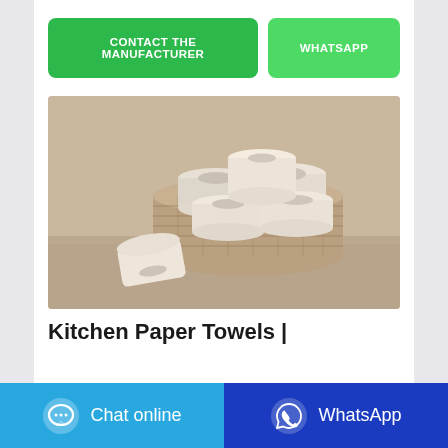[Figure (other): Two green call-to-action buttons: 'CONTACT THE MANUFACTURER' and 'WHATSAPP']
[Figure (photo): Photo of paper towel/toilet paper rolls in a woven basket, with one roll lying in front, on a wooden surface with a beige wall background]
Kitchen Paper Towels |
[Figure (other): Bottom navigation bar with 'Chat online' button (blue with chat bubble icon) and 'WhatsApp' button (dark blue with WhatsApp icon)]